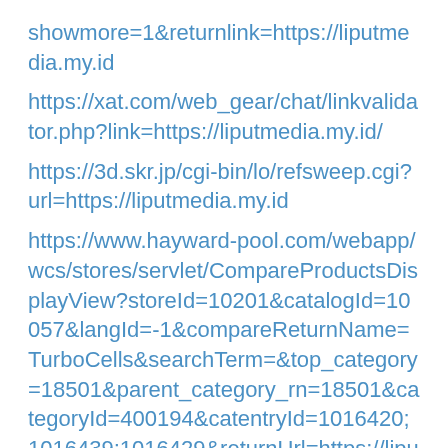showmore=1&returnlink=https://liputmedia.my.id
https://xat.com/web_gear/chat/linkvalidator.php?link=https://liputmedia.my.id/
https://3d.skr.jp/cgi-bin/lo/refsweep.cgi?url=https://liputmedia.my.id
https://www.hayward-pool.com/webapp/wcs/stores/servlet/CompareProductsDisplayView?storeId=10201&catalogId=10057&langId=-1&compareReturnName=TurboCells&searchTerm=&top_category=18501&parent_category_rn=18501&categoryId=400194&catentryId=1016420;1016439;1016429&returnUrl=https://liputmedia.my.id
http://woe.bendbulletin.com/AdHunter/Default/